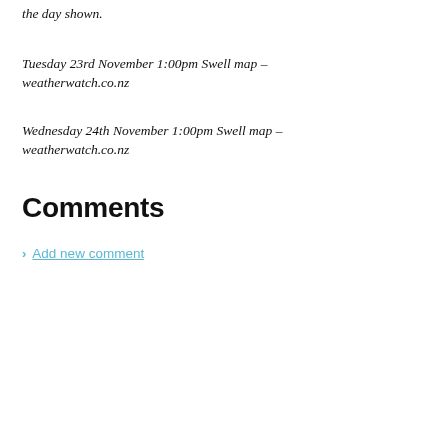the day shown.
Tuesday 23rd November 1:00pm Swell map – weatherwatch.co.nz
Wednesday 24th November 1:00pm Swell map – weatherwatch.co.nz
Comments
> Add new comment